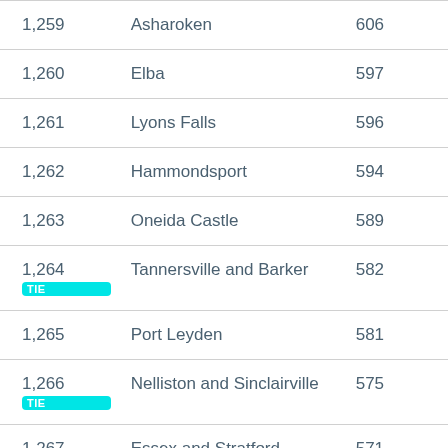| Rank | Name | Population |
| --- | --- | --- |
| 1,259 | Asharoken | 606 |
| 1,260 | Elba | 597 |
| 1,261 | Lyons Falls | 596 |
| 1,262 | Hammondsport | 594 |
| 1,263 | Oneida Castle | 589 |
| 1,264 TIE | Tannersville and Barker | 582 |
| 1,265 | Port Leyden | 581 |
| 1,266 TIE | Nelliston and Sinclairville | 575 |
| 1,267 TIE | Essex and Stratford | 571 |
| 1,268 TIE | Cassadaga and Grove | 564 |